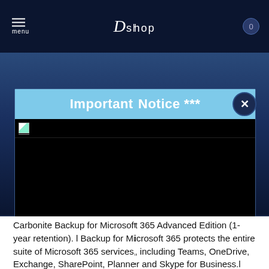menu  D shop  0
Important Notice ***
[Figure (screenshot): Black area with a broken image icon at top-left, representing a failed/unloaded image in the modal dialog.]
Üye Olun - Sign Up
Tekrar Gösterme -- Don't Show
Carbonite Backup for Microsoft 365 Advanced Edition (1-year retention). l Backup for Microsoft 365 protects the entire suite of Microsoft 365 services, including Teams, OneDrive, Exchange, SharePoint, Planner and Skype for Business.l Run backups up to